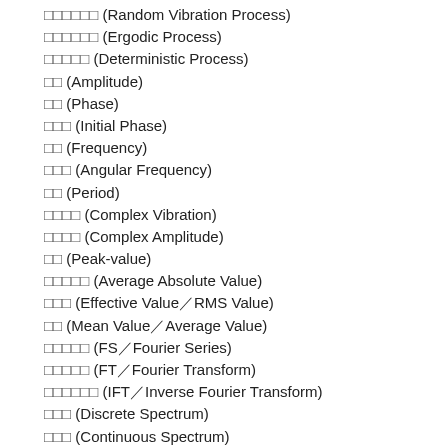□□□□□□ (Random Vibration Process)
□□□□□□ (Ergodic Process)
□□□□□ (Deterministic Process)
□□ (Amplitude)
□□ (Phase)
□□□ (Initial Phase)
□□ (Frequency)
□□□ (Angular Frequency)
□□ (Period)
□□□□ (Complex Vibration)
□□□□ (Complex Amplitude)
□□ (Peak-value)
□□□□□ (Average Absolute Value)
□□□ (Effective Value／RMS Value)
□□ (Mean Value／Average Value)
□□□□□ (FS／Fourier Series)
□□□□□ (FT／Fourier Transform)
□□□□□□ (IFT／Inverse Fourier Transform)
□□□ (Discrete Spectrum)
□□□ (Continuous Spectrum)
□□□□ (Fourier Spectrum)
□□□ (Linear Spectrum)
□□□ (Amplitude Spectrum)